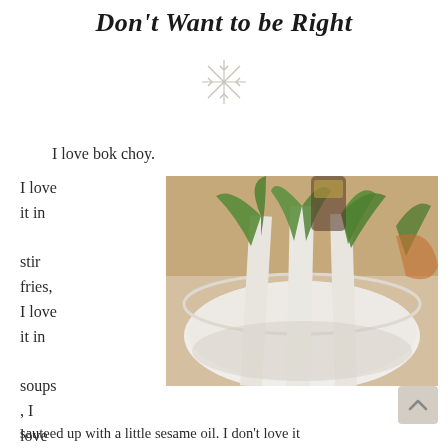Don't Want to be Right
[Figure (illustration): Decorative snowflake/star ornament divider]
I love bok choy.
I love it in stir fries, I love it in soups, I love it
[Figure (photo): Photo of fresh bok choy heads in a white bowl on a kitchen counter]
sauteed up with a little sesame oil. I don't love it